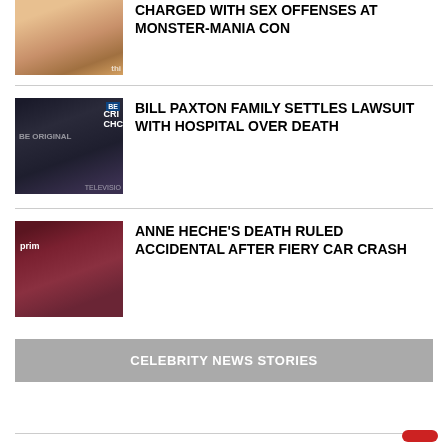[Figure (photo): Partial news card: man with blonde hair cropped at top, thumbnail photo]
CHARGED WITH SEX OFFENSES AT MONSTER-MANIA CON
[Figure (photo): Bill Paxton in tuxedo at Critics Choice Awards event]
BILL PAXTON FAMILY SETTLES LAWSUIT WITH HOSPITAL OVER DEATH
[Figure (photo): Anne Heche smiling, Amazon Prime logo visible in background]
ANNE HECHE'S DEATH RULED ACCIDENTAL AFTER FIERY CAR CRASH
CELEBRITY NEWS STORIES